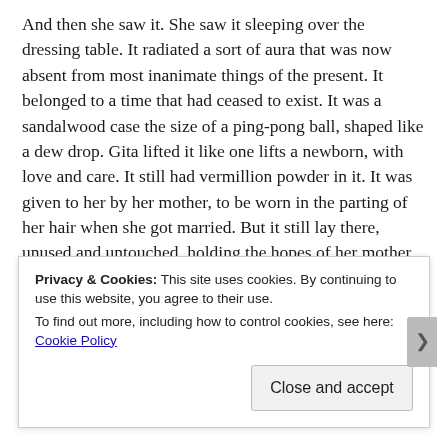And then she saw it. She saw it sleeping over the dressing table. It radiated a sort of aura that was now absent from most inanimate things of the present. It belonged to a time that had ceased to exist. It was a sandalwood case the size of a ping-pong ball, shaped like a dew drop. Gita lifted it like one lifts a newborn, with love and care. It still had vermillion powder in it. It was given to her by her mother, to be worn in the parting of her hair when she got married. But it still lay there, unused and untouched, holding the hopes of her mother. She should have felt despair and shame because she had let her mother down. But she did not. She emptied the contents of the case like it meant nothing. As if things could shrug the value of memories if
Privacy & Cookies: This site uses cookies. By continuing to use this website, you agree to their use.
To find out more, including how to control cookies, see here: Cookie Policy
Close and accept